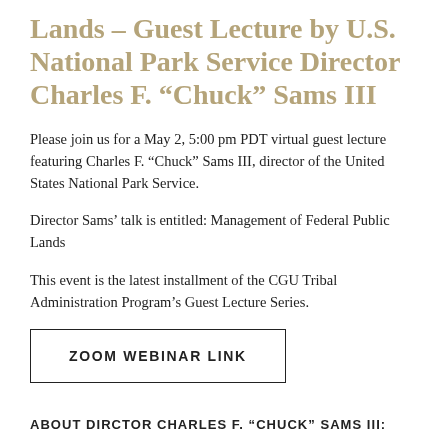Lands – Guest Lecture by U.S. National Park Service Director Charles F. “Chuck” Sams III
Please join us for a May 2, 5:00 pm PDT virtual guest lecture featuring Charles F. “Chuck” Sams III, director of the United States National Park Service.
Director Sams’ talk is entitled: Management of Federal Public Lands
This event is the latest installment of the CGU Tribal Administration Program’s Guest Lecture Series.
ZOOM WEBINAR LINK
ABOUT DIRCTOR CHARLES F. “CHUCK” SAMS III: